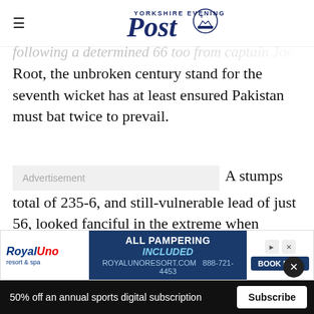Yorkshire Evening Post
following a determined 66 too from captain Joe Root, the unbroken century stand for the seventh wicket has at least ensured Pakistan must bat twice to prevail.
[Figure (other): Advertisement placeholder box]
A stumps total of 235-6, and still-vulnerable lead of just 56, looked fanciful in the extreme when Buttler (66no) and Bess (55no) were thrust into damage limitation mode 10 after England HIT 135/6 51. Worse news for fans.
[Figure (other): Royal Uno resort advertisement banner: ALL PAMPERING INCLUDED. ROYALUNORESORT.COM 888-721-4453 BOOK NOW]
50% off an annual sports digital subscription  Subscribe